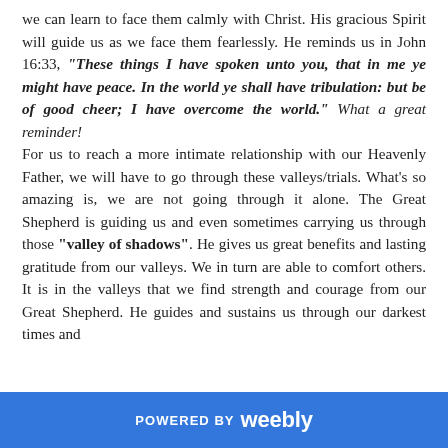we can learn to face them calmly with Christ. His gracious Spirit will guide us as we face them fearlessly. He reminds us in John 16:33, "These things I have spoken unto you, that in me ye might have peace. In the world ye shall have tribulation: but be of good cheer; I have overcome the world." What a great reminder!
For us to reach a more intimate relationship with our Heavenly Father, we will have to go through these valleys/trials. What's so amazing is, we are not going through it alone. The Great Shepherd is guiding us and even sometimes carrying us through those "valley of shadows". He gives us great benefits and lasting gratitude from our valleys. We in turn are able to comfort others. It is in the valleys that we find strength and courage from our Great Shepherd. He guides and sustains us through our darkest times and
POWERED BY weebly